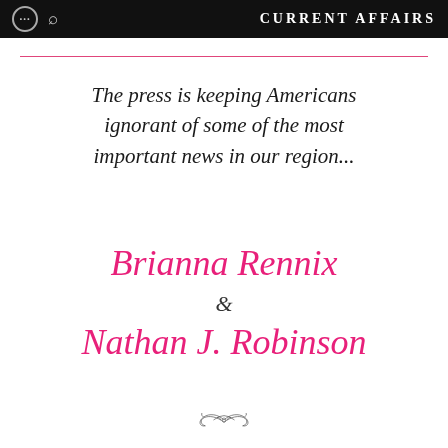CURRENT AFFAIRS
The press is keeping Americans ignorant of some of the most important news in our region...
Brianna Rennix & Nathan J. Robinson
[Figure (illustration): Decorative calligraphic ornament / flourish at the bottom center of the page]